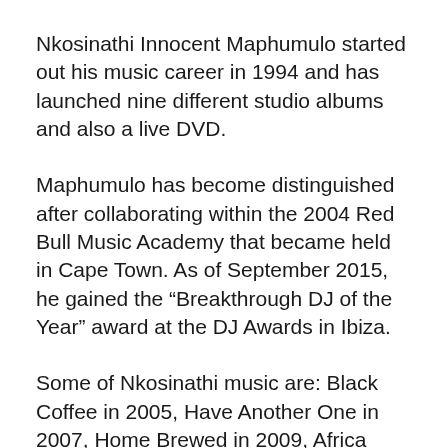Nkosinathi Innocent Maphumulo started out his music career in 1994 and has launched nine different studio albums and also a live DVD.
Maphumulo has become distinguished after collaborating within the 2004 Red Bull Music Academy that became held in Cape Town. As of September 2015, he gained the “Breakthrough DJ of the Year” award at the DJ Awards in Ibiza.
Some of Nkosinathi music are: Black Coffee in 2005, Have Another One in 2007, Home Brewed in 2009, Africa Rising DVD in 2012, Africa Rising CD in 2012, Pieces of Me in 2015, The Journey Continues EP in 2016,